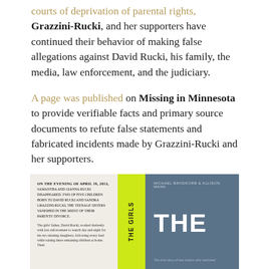courts of deprivation of parental rights, Grazzini-Rucki, and her supporters have continued their behavior of making false allegations against David Rucki, his family, the media, law enforcement, and the judiciary.
A page was published on Missing in Minnesota to provide verifiable facts and primary source documents to refute false statements and fabricated incidents made by Grazzini-Rucki and her supporters.
“20/20” episode discussed in the new best-selling true crime book
[Figure (photo): Book cover image of 'The Girls' by Michael Brodkorb and Allison Mann. Shows a three-panel design: left panel is a cream background with text excerpt, center spine is bright yellow with THE GIRLS written vertically, right panel is blue-grey with author names and large THE title text.]